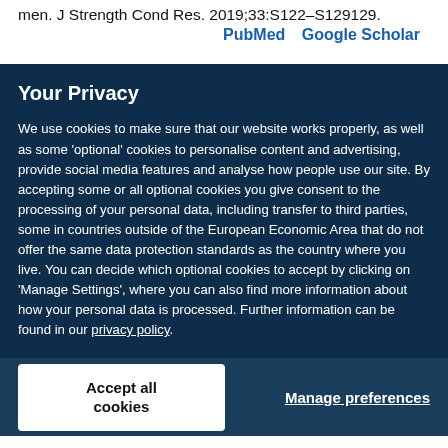men. J Strength Cond Res. 2019;33:S122–S129129.
PubMed   Google Scholar
Your Privacy
We use cookies to make sure that our website works properly, as well as some 'optional' cookies to personalise content and advertising, provide social media features and analyse how people use our site. By accepting some or all optional cookies you give consent to the processing of your personal data, including transfer to third parties, some in countries outside of the European Economic Area that do not offer the same data protection standards as the country where you live. You can decide which optional cookies to accept by clicking on 'Manage Settings', where you can also find more information about how your personal data is processed. Further information can be found in our privacy policy.
Accept all cookies
Manage preferences